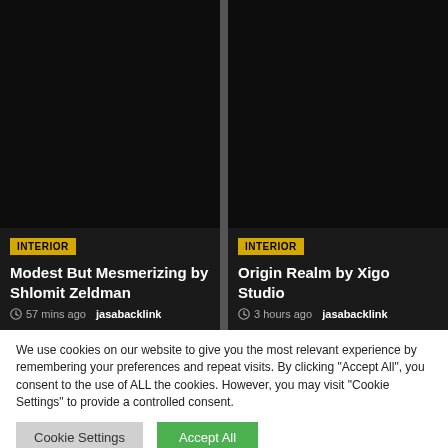[Figure (photo): Dark/black image thumbnail for article card on left side]
INTERIOR
Modest But Mesmerizing by Shlomit Zeldman
57 mins ago  jasabacklink
[Figure (photo): Dark/black image thumbnail for article card on right side]
INTERIOR
Origin Realm by Xigo Studio
3 hours ago  jasabacklink
We use cookies on our website to give you the most relevant experience by remembering your preferences and repeat visits. By clicking "Accept All", you consent to the use of ALL the cookies. However, you may visit "Cookie Settings" to provide a controlled consent.
Cookie Settings
Accept All